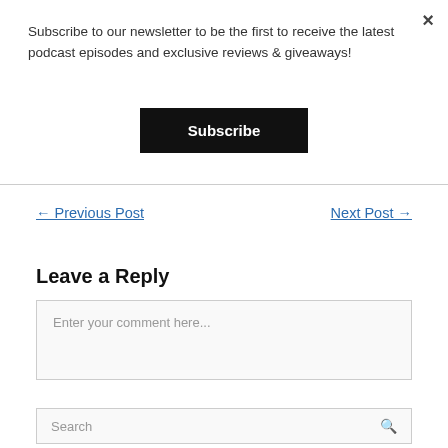×
Subscribe to our newsletter to be the first to receive the latest podcast episodes and exclusive reviews & giveaways!
Subscribe
← Previous Post
Next Post →
Leave a Reply
Enter your comment here...
Search